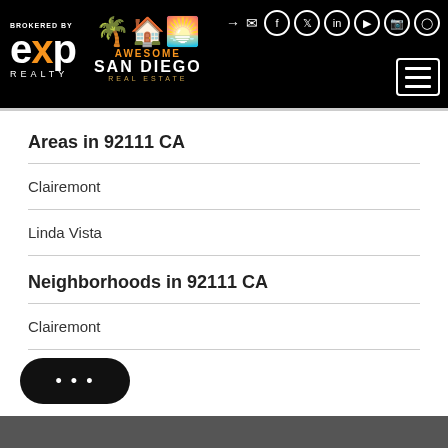[Figure (logo): EXP Realty and Awesome San Diego Real Estate logos with social media icons and hamburger menu on black header background]
Areas in 92111 CA
Clairemont
Linda Vista
Neighborhoods in 92111 CA
Clairemont
Linda Vista (partial)